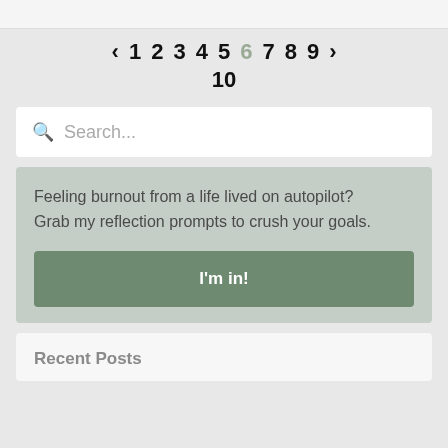‹ 1 2 3 4 5 6 7 8 9 › 10 (pagination navigation, page 6 is current/highlighted in grey)
[Figure (screenshot): Search input box with magnifying glass icon and placeholder text 'Search...']
Feeling burnout from a life lived on autopilot? Grab my reflection prompts to crush your goals.
I'm in!
Recent Posts